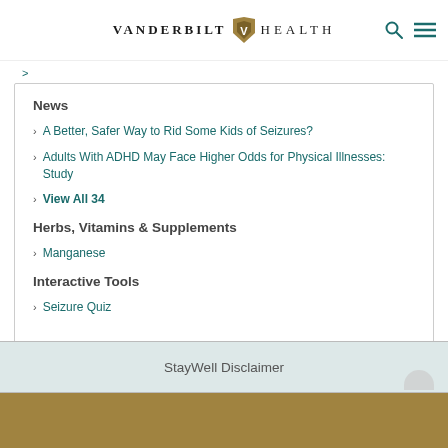VANDERBILT HEALTH
News
A Better, Safer Way to Rid Some Kids of Seizures?
Adults With ADHD May Face Higher Odds for Physical Illnesses: Study
View All 34
Herbs, Vitamins & Supplements
Manganese
Interactive Tools
Seizure Quiz
StayWell Disclaimer